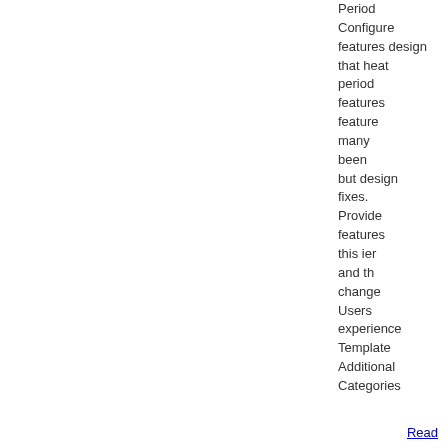Period Configure features design that heat period features feature many been but design fixes. Provide features this easier and the change Users experience Template Additional Categories
Read